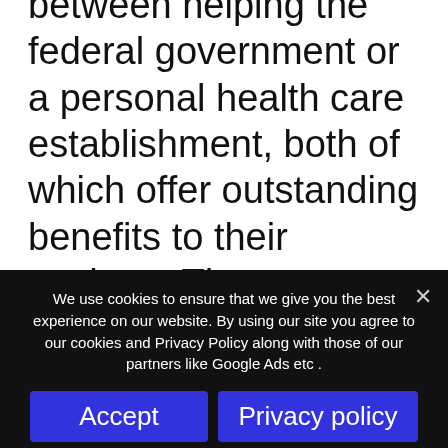between helping the federal government or a personal health care establishment, both of which offer outstanding benefits to their workers. Those working for the Canadian Medicare system under LMIA Jobs, as an example, might look forward to 15 days of annual leave for the first year functioned (1,950 hours of service),
We use cookies to ensure that we give you the best experience on our website. By using our site you agree to our cookies and Privacy Policy along with those of our partners like Google Ads etc .